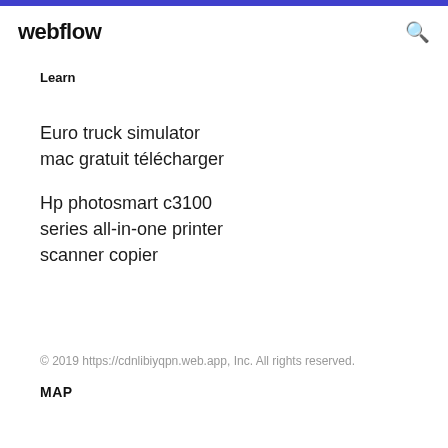webflow
Learn
Euro truck simulator mac gratuit télécharger
Hp photosmart c3100 series all-in-one printer scanner copier
© 2019 https://cdnlibiyqpn.web.app, Inc. All rights reserved.
MAP